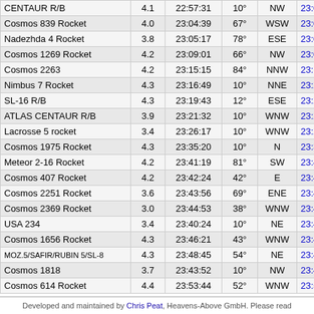| Name | Mag | Appears | Alt | Dir | Link |
| --- | --- | --- | --- | --- | --- |
| CENTAUR R/B | 4.1 | 22:57:31 | 10° | NW | 23:04:3... |
| Cosmos 839 Rocket | 4.0 | 23:04:39 | 67° | WSW | 23:05:2... |
| Nadezhda 4 Rocket | 3.8 | 23:05:17 | 78° | ESE | 23:05:3... |
| Cosmos 1269 Rocket | 4.2 | 23:09:01 | 66° | NW | 23:09:0... |
| Cosmos 2263 | 4.2 | 23:15:15 | 84° | NNW | 23:15:1... |
| Nimbus 7 Rocket | 4.3 | 23:16:49 | 10° | NNE | 23:22:5... |
| SL-16 R/B | 4.3 | 23:19:43 | 12° | ESE | 23:23:5... |
| ATLAS CENTAUR R/B | 3.9 | 23:21:32 | 10° | WNW | 23:22:4... |
| Lacrosse 5 rocket | 3.4 | 23:26:17 | 10° | WNW | 23:29:2... |
| Cosmos 1975 Rocket | 4.3 | 23:35:20 | 10° | N | 23:39:0... |
| Meteor 2-16 Rocket | 4.2 | 23:41:19 | 81° | SW | 23:41:3... |
| Cosmos 407 Rocket | 4.2 | 23:42:24 | 42° | E | 23:42:2... |
| Cosmos 2251 Rocket | 3.6 | 23:43:56 | 69° | ENE | 23:43:5... |
| Cosmos 2369 Rocket | 3.0 | 23:44:53 | 38° | WNW | 23:45:5... |
| USA 234 | 3.4 | 23:40:24 | 10° | NE | 23:46:5... |
| Cosmos 1656 Rocket | 4.3 | 23:46:21 | 43° | WNW | 23:47:0... |
| MOZ.5/SAFIR/RUBIN 5/SL-8 | 4.3 | 23:48:45 | 54° | NE | 23:48:4... |
| Cosmos 1818 | 3.7 | 23:43:52 | 10° | NW | 23:49:2... |
| Cosmos 614 Rocket | 4.4 | 23:53:44 | 52° | WNW | 23:53:4... |
Developed and maintained by Chris Peat, Heavens-Above GmbH. Please read...